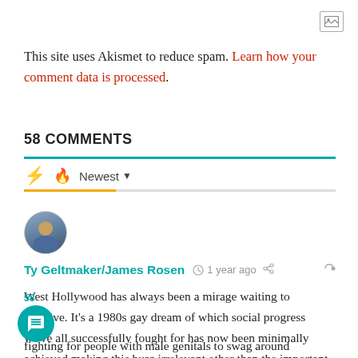[Figure (other): Image placeholder icon in top right corner]
This site uses Akismet to reduce spam. Learn how your comment data is processed.
58 COMMENTS
Sort bar with bolt icon, flame icon, and Newest dropdown
[Figure (photo): Avatar photo of commenter Ty Geltmaker/James Rosen]
Ty Geltmaker/James Rosen · 1 year ago
West Hollywood has always been a mirage waiting to dissolve. It's a 1980s gay dream of which social progress we've all successfully fought for has now been minimally achieved making this burg irrelevant other than the important rent controls.

Are we really now about curtailing labor rights while fighting for people with male genitals to swag around